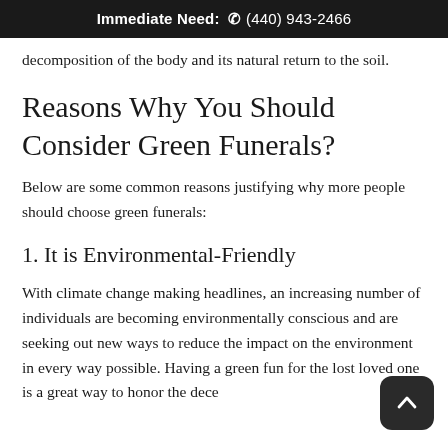Immediate Need:  ✆ (440) 943-2466
decomposition of the body and its natural return to the soil.
Reasons Why You Should Consider Green Funerals?
Below are some common reasons justifying why more people should choose green funerals:
1. It is Environmental-Friendly
With climate change making headlines, an increasing number of individuals are becoming environmentally conscious and are seeking out new ways to reduce the impact on the environment in every way possible. Having a green fun for the lost loved one is a great way to honor the dece